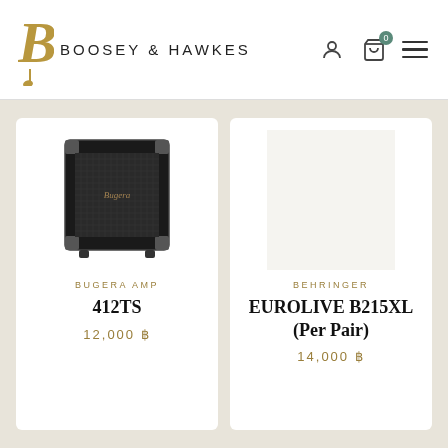BOOSEY & HAWKES
[Figure (photo): Bugera guitar speaker cabinet 412TS, black, front-facing]
BUGERA AMP
412TS
12,000 ฿
[Figure (photo): Empty/placeholder for Behringer Eurolive B215XL product image]
BEHRINGER
EUROLIVE B215XL (Per Pair)
14,000 ฿